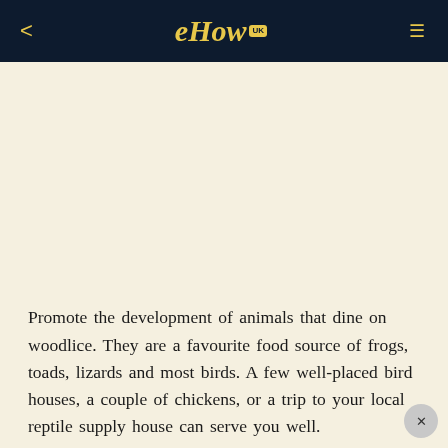eHow UK
Promote the development of animals that dine on woodlice. They are a favourite food source of frogs, toads, lizards and most birds. A few well-placed bird houses, a couple of chickens, or a trip to your local reptile supply house can serve you well.